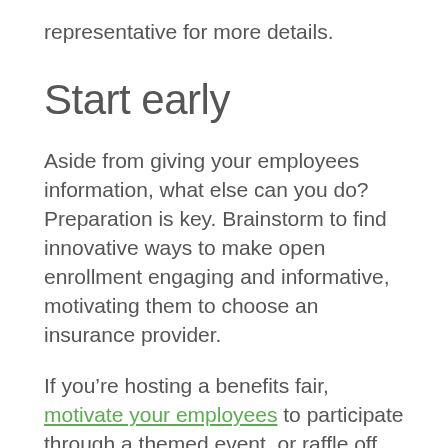representative for more details.
Start early
Aside from giving your employees information, what else can you do? Preparation is key. Brainstorm to find innovative ways to make open enrollment engaging and informative, motivating them to choose an insurance provider.
If you're hosting a benefits fair, motivate your employees to participate through a themed event, or raffle off prizes for attending. Send out emails with